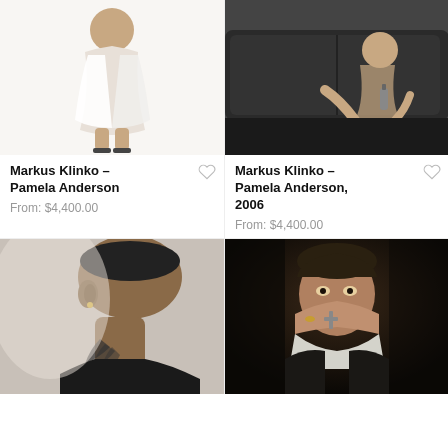[Figure (photo): Fashion photo of a woman in white dress with bare legs and heels against white background]
Markus Klinko – Pamela Anderson
From: $4,400.00
[Figure (photo): Woman sitting on dark leather sofa holding a bottle, moody photography]
Markus Klinko – Pamela Anderson, 2006
From: $4,400.00
[Figure (photo): Close-up side profile of a Black man's head and neck showing tattoo on neck and earring]
[Figure (photo): Dark moody portrait of a man holding a cross/jewelry near his face]